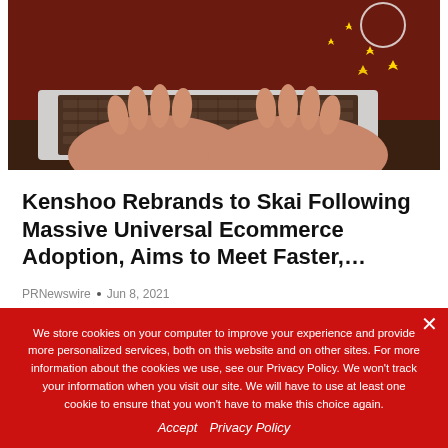[Figure (photo): Person's hands typing on a laptop keyboard, with yellow stars overlay in the upper right corner of the image]
Kenshoo Rebrands to Skai Following Massive Universal Ecommerce Adoption, Aims to Meet Faster,…
PRNewswire • Jun 8, 2021
We store cookies on your computer to improve your experience and provide more personalized services, both on this website and on other sites. For more information about the cookies we use, see our Privacy Policy. We won't track your information when you visit our site. We will have to use at least one cookie to ensure that you won't have to make this choice again.
Accept   Privacy Policy